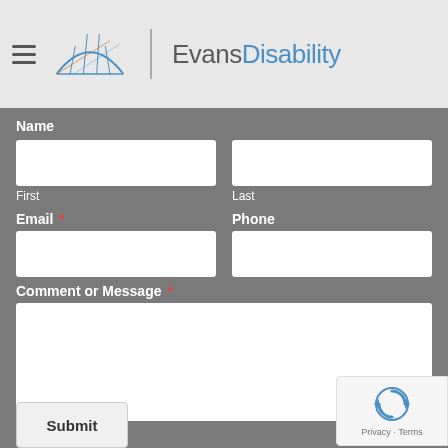Evans Disability
Name
First
Last
Email *
Phone
Comment or Message *
Submit